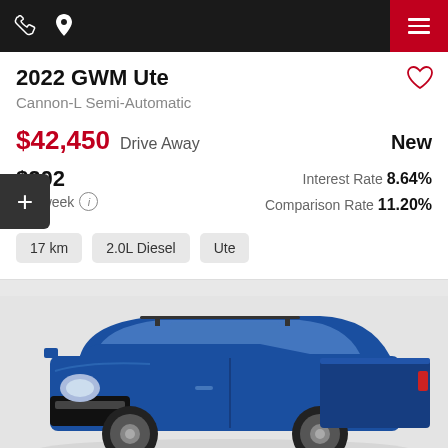Navigation header with phone, location icons and menu button
2022 GWM Ute
Cannon-L Semi-Automatic
$42,450 Drive Away   New
$202 Per week  |  Interest Rate 8.64%  Comparison Rate 11.20%
17 km
2.0L Diesel
Ute
[Figure (photo): Blue GWM Ute pickup truck shown from front-left angle on light grey background]